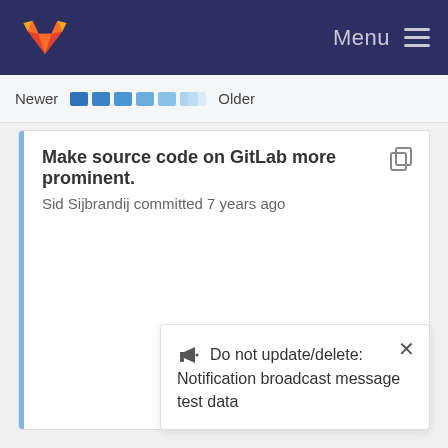GitLab — Menu
Newer   Older
Make source code on GitLab more prominent.
Sid Sijbrandij committed 7 years ago
📣 Do not update/delete: Notification broadcast message test data